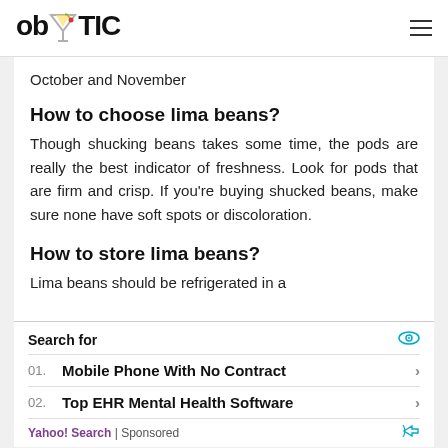obYTIC
October and November
How to choose lima beans?
Though shucking beans takes some time, the pods are really the best indicator of freshness. Look for pods that are firm and crisp. If you're buying shucked beans, make sure none have soft spots or discoloration.
How to store lima beans?
Lima beans should be refrigerated in a
Search for
01. Mobile Phone With No Contract
02. Top EHR Mental Health Software
Yahoo! Search | Sponsored